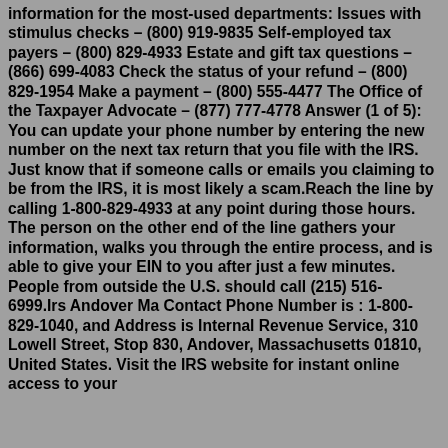information for the most-used departments: Issues with stimulus checks – (800) 919-9835 Self-employed tax payers – (800) 829-4933 Estate and gift tax questions – (866) 699-4083 Check the status of your refund – (800) 829-1954 Make a payment – (800) 555-4477 The Office of the Taxpayer Advocate – (877) 777-4778 Answer (1 of 5): You can update your phone number by entering the new number on the next tax return that you file with the IRS. Just know that if someone calls or emails you claiming to be from the IRS, it is most likely a scam.Reach the line by calling 1-800-829-4933 at any point during those hours. The person on the other end of the line gathers your information, walks you through the entire process, and is able to give your EIN to you after just a few minutes. People from outside the U.S. should call (215) 516-6999.Irs Andover Ma Contact Phone Number is : 1-800-829-1040, and Address is Internal Revenue Service, 310 Lowell Street, Stop 830, Andover, Massachusetts 01810, United States. Visit the IRS website for instant online access to your